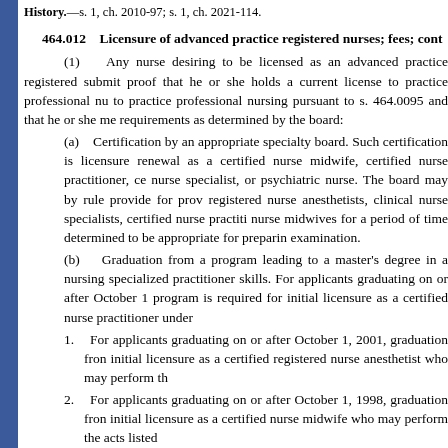History.—s. 1, ch. 2010-97; s. 1, ch. 2021-114.
464.012    Licensure of advanced practice registered nurses; fees; cont
(1)    Any nurse desiring to be licensed as an advanced practice registered submit proof that he or she holds a current license to practice professional nu to practice professional nursing pursuant to s. 464.0095 and that he or she me requirements as determined by the board:
(a)    Certification by an appropriate specialty board. Such certification is licensure renewal as a certified nurse midwife, certified nurse practitioner, ce nurse specialist, or psychiatric nurse. The board may by rule provide for prov registered nurse anesthetists, clinical nurse specialists, certified nurse practiti nurse midwives for a period of time determined to be appropriate for preparin examination.
(b)    Graduation from a program leading to a master's degree in a nursing specialized practitioner skills. For applicants graduating on or after October 1 program is required for initial licensure as a certified nurse practitioner under
1.    For applicants graduating on or after October 1, 2001, graduation fron initial licensure as a certified registered nurse anesthetist who may perform th
2.    For applicants graduating on or after October 1, 1998, graduation fron initial licensure as a certified nurse midwife who may perform the acts listed
3.    For applicants graduating on or after July 1, 2007, graduation from a n initial licensure as a clinical nurse specialist who may perform the acts listed
(2)    The board shall provide by rule the appropriate requirements for adv